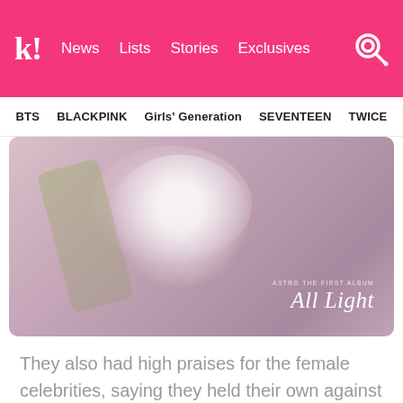k! News  Lists  Stories  Exclusives
BTS  BLACKPINK  Girls' Generation  SEVENTEEN  TWICE
[Figure (photo): Album cover or promotional photo showing hands holding white flowers against a light pink/mauve background, with text overlay reading 'ASTRO THE FIRST ALBUM All Light']
They also had high praises for the female celebrities, saying they held their own against his perfect visuals.
Everyone is great. The female idols also have very small faces … It's amazing to see how small Cha Eunwoo's face is when standing next